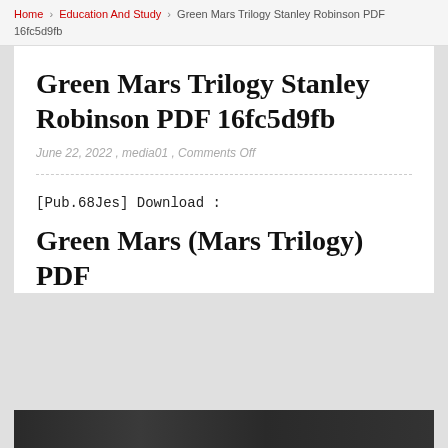Home / Education And Study / Green Mars Trilogy Stanley Robinson PDF 16fc5d9fb
Green Mars Trilogy Stanley Robinson PDF 16fc5d9fb
June 22, 2022 , media01 , Comments Off
[Pub.68Jes] Download :
Green Mars (Mars Trilogy) PDF
[Figure (photo): Book cover or related image at bottom of page]